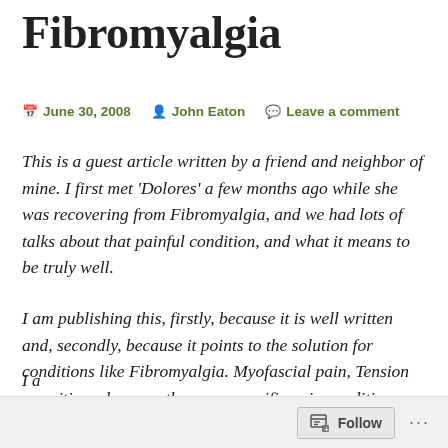Fibromyalgia
June 30, 2008   John Eaton   Leave a comment
This is a guest article written by a friend and neighbor of mine. I first met ‘Dolores’ a few months ago while she was recovering from Fibromyalgia, and we had lots of talks about that painful condition, and what it means to be truly well.
I am publishing this, firstly, because it is well written and, secondly, because it points to the solution for conditions like Fibromyalgia. Myofascial pain, Tension myositis and many other non–specific pain conditions. May it give hope to all those sufferers out there.